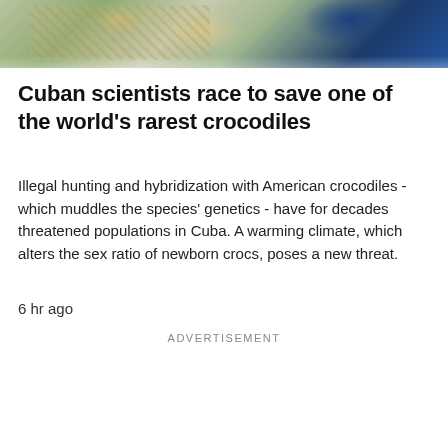[Figure (photo): Close-up photograph of a crocodile with scaly skin texture in foreground, blue water or sky in background]
Cuban scientists race to save one of the world's rarest crocodiles
Illegal hunting and hybridization with American crocodiles - which muddles the species' genetics - have for decades threatened populations in Cuba. A warming climate, which alters the sex ratio of newborn crocs, poses a new threat.
6 hr ago
ADVERTISEMENT